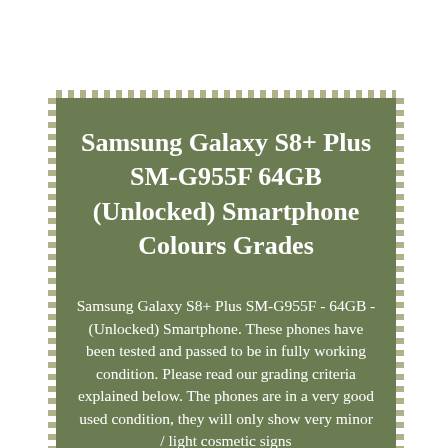Samsung Galaxy S8+ Plus SM-G955F 64GB (Unlocked) Smartphone Colours Grades
Samsung Galaxy S8+ Plus SM-G955F - 64GB - (Unlocked) Smartphone. These phones have been tested and passed to be in fully working condition. Please read our grading criteria explained below. The phones are in a very good used condition, they will only show very minor / light cosmetic signs